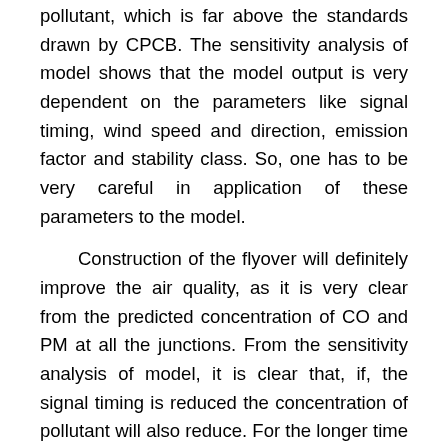pollutant, which is far above the standards drawn by CPCB. The sensitivity analysis of model shows that the model output is very dependent on the parameters like signal timing, wind speed and direction, emission factor and stability class. So, one has to be very careful in application of these parameters to the model.
Construction of the flyover will definitely improve the air quality, as it is very clear from the predicted concentration of CO and PM at all the junctions. From the sensitivity analysis of model, it is clear that, if, the signal timing is reduced the concentration of pollutant will also reduce. For the longer time signalized junction the time display panel can be fixed, so